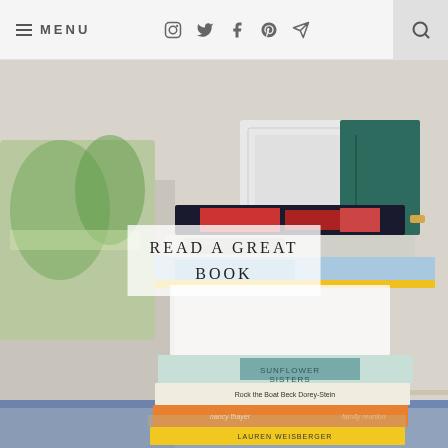≡ MENU  [instagram] [twitter] [facebook] [pinterest] [email]  [search]
[Figure (photo): A tall stack of colorful books on a glass coffee table in a living room setting. Visible titles include 'Sunflower Sisters', 'Rock the Boat' by Beck Dorey-Stein, 'nancy thayer family reunion', and 'LAUREN WEISBERGER'. An overlay text box reads 'READ A GREAT BOOK' in uppercase serif letters.]
READ A GREAT BOOK